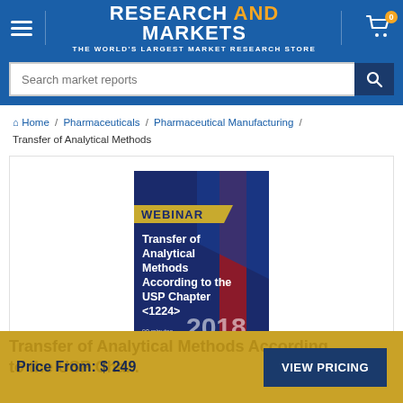RESEARCH AND MARKETS — THE WORLD'S LARGEST MARKET RESEARCH STORE
Search market reports
Home / Pharmaceuticals / Pharmaceutical Manufacturing / Transfer of Analytical Methods
[Figure (photo): Book cover: Transfer of Analytical Methods According to the USP Chapter <1224>, WEBINAR, 90 minutes, 2018]
Transfer of Analytical Methods According to the USP Chapter <1224>
Price From: $249
VIEW PRICING